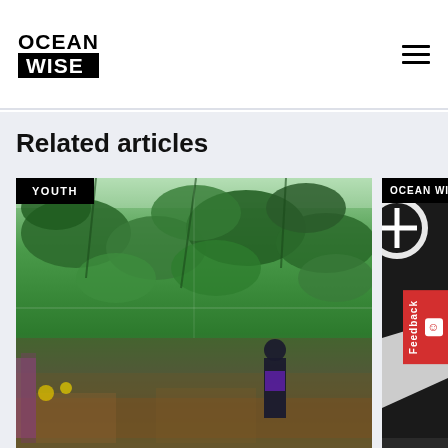[Figure (logo): Ocean Wise logo — OCEAN in bold black text above WISE in white text on black background]
[Figure (illustration): Hamburger menu icon — three horizontal black lines]
Related articles
[Figure (photo): Photo of a greenhouse interior with lush green plants and a person standing among the plants wearing a purple top and black garment]
YOUTH
YouthToSea Alum Wins Burnaby Youth Environmental Award
[Figure (photo): Partially visible black and white graphic image with Ocean Wise branding, partially cut off on right side]
OCEAN WIS...
Ocean Wi... Security I...